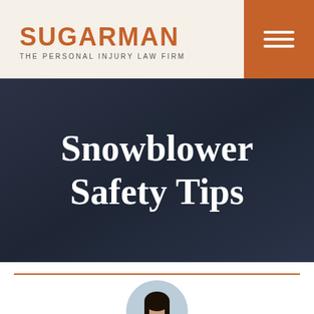SUGARMAN — THE PERSONAL INJURY LAW FIRM
Snowblower Safety Tips
[Figure (photo): Author headshot photo inside a circular crop, partially visible at bottom of page, showing a woman with dark hair against a light blue background.]